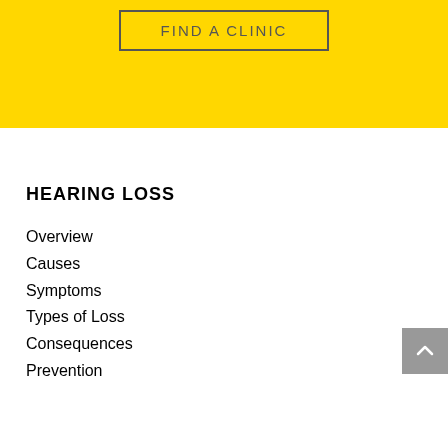[Figure (other): Yellow banner section with a 'FIND A CLINIC' button with a rectangular border]
HEARING LOSS
Overview
Causes
Symptoms
Types of Loss
Consequences
Prevention